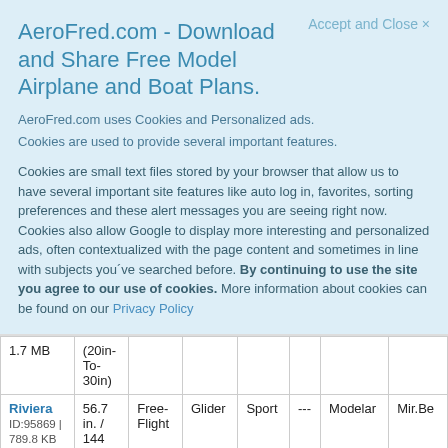AeroFred.com - Download and Share Free Model Airplane and Boat Plans.
Accept and Close ×
AeroFred.com uses Cookies and Personalized ads.
Cookies are used to provide several important features.
Cookies are small text files stored by your browser that allow us to have several important site features like auto log in, favorites, sorting preferences and these alert messages you are seeing right now. Cookies also allow Google to display more interesting and personalized ads, often contextualized with the page content and sometimes in line with subjects you've searched before. By continuing to use the site you agree to our use of cookies. More information about cookies can be found on our Privacy Policy
|  | Size | Type | Class | Use | Motor | Designer | Publisher |
| --- | --- | --- | --- | --- | --- | --- | --- |
| 1.7 MB | (20in-To-30in) |  |  |  |  |  |  |
| Riviera
ID:95869 | 789.8 KB | 56.7 in. / 144 cm | Free-Flight | Glider | Sport | --- | Modelar | Mir.Be |